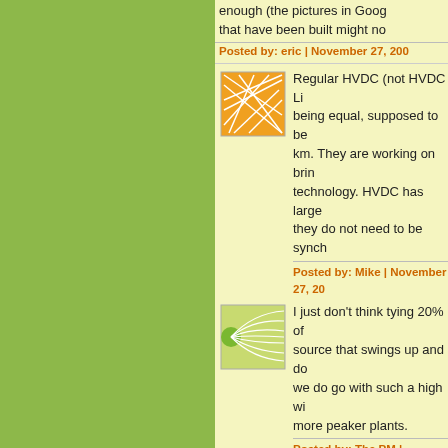enough (the pictures in Goog... that have been built might no...
Posted by: eric | November 27, 200...
[Figure (illustration): Orange square avatar with white geometric line pattern]
Regular HVDC (not HVDC Li... being equal, supposed to be ... km. They are working on brin... technology. HVDC has large ... they do not need to be synch...
Posted by: Mike | November 27, 20...
[Figure (illustration): Green square avatar with radiating curved lines pattern]
I just don't think tying 20% of... source that swings up and do... we do go with such a high wi... more peaker plants.
Posted by: The PM | November 27,...
[Figure (illustration): Blue and white wavy lines avatar]
The PM,
It is called pumped hydro. Fr...